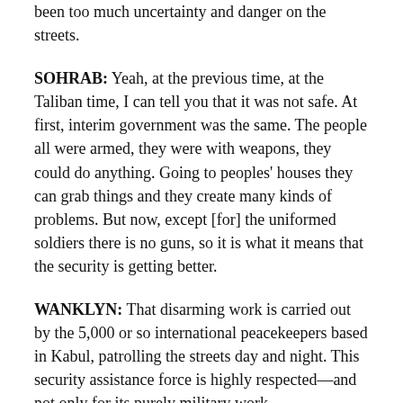been too much uncertainty and danger on the streets.
SOHRAB: Yeah, at the previous time, at the Taliban time, I can tell you that it was not safe. At first, interim government was the same. The people all were armed, they were with weapons, they could do anything. Going to peoples' houses they can grab things and they create many kinds of problems. But now, except [for] the uniformed soldiers there is no guns, so it is what it means that the security is getting better.
WANKLYN: That disarming work is carried out by the 5,000 or so international peacekeepers based in Kabul, patrolling the streets day and night. This security assistance force is highly respected—and not only for its purely military work.